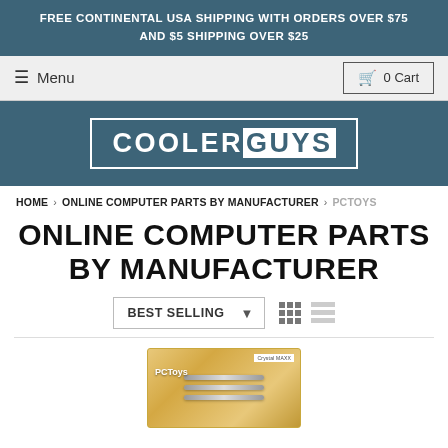FREE CONTINENTAL USA SHIPPING WITH ORDERS OVER $75 AND $5 SHIPPING OVER $25
≡ Menu  🛒 0 Cart
[Figure (logo): CoolerGuys logo in white text inside a bordered box on a dark blue-gray background]
HOME › ONLINE COMPUTER PARTS BY MANUFACTURER › PCTOYS
ONLINE COMPUTER PARTS BY MANUFACTURER
[Figure (screenshot): Sort dropdown showing BEST SELLING with a down arrow, and grid/list view toggle icons to the right]
[Figure (photo): Product image showing PCToys Crystal MAXX cables in golden retail packaging]